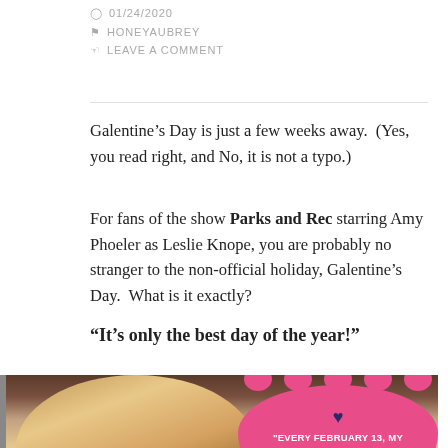01/24/2020
HONEYAUBREY
LEAVE A COMMENT
Galentine’s Day is just a few weeks away.  (Yes, you read right, and No, it is not a typo.)
For fans of the show Parks and Rec starring Amy Phoeler as Leslie Knope, you are probably no stranger to the non-official holiday, Galentine’s Day.  What is it exactly?
“It’s only the best day of the year!”
[Figure (photo): Photo of a blonde woman (Amy Poehler as Leslie Knope) with a pink speech bubble overlay reading 'EVERY FEBRUARY 13, MY LADYFRIENDS AND I LEAVE OUR HUSBANDS AND OUR' with a dark blue heart icon above the text]